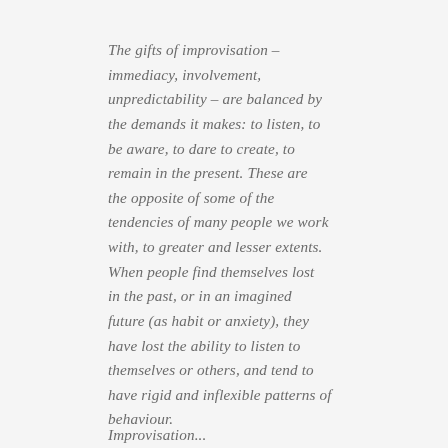The gifts of improvisation – immediacy, involvement, unpredictability – are balanced by the demands it makes: to listen, to be aware, to dare to create, to remain in the present. These are the opposite of some of the tendencies of many people we work with, to greater and lesser extents. When people find themselves lost in the past, or in an imagined future (as habit or anxiety), they have lost the ability to listen to themselves or others, and tend to have rigid and inflexible patterns of behaviour.
Improvisation...